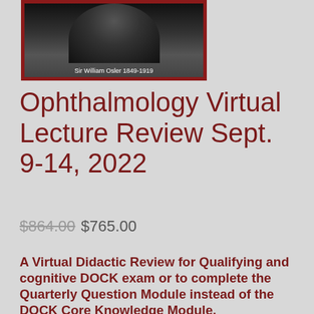[Figure (photo): Black and white portrait photo of Sir William Osler 1849-1919 with a dark border and caption]
Sir William Osler 1849-1919
Ophthalmology Virtual Lecture Review Sept. 9-14, 2022
$864.00 $765.00
A Virtual Didactic Review for Qualifying and cognitive DOCK exam or to complete the Quarterly Question Module instead of the DOCK Core Knowledge Module.